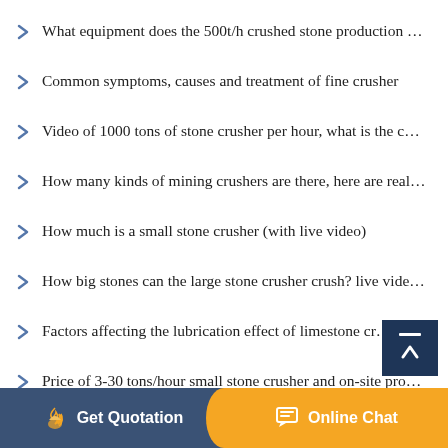What equipment does the 500t/h crushed stone production …
Common symptoms, causes and treatment of fine crusher
Video of 1000 tons of stone crusher per hour, what is the c…
How many kinds of mining crushers are there, here are real…
How much is a small stone crusher (with live video)
How big stones can the large stone crusher crush? live vide…
Factors affecting the lubrication effect of limestone cr…
Price of 3-30 tons/hour small stone crusher and on-site pro…
Can a vertical compound crusher crush limestone? How m…
Get Quotation    Online Chat